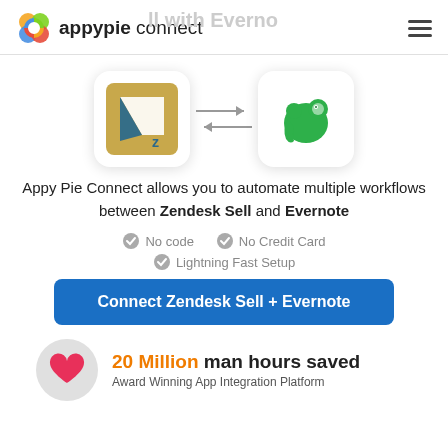appypie connect
[Figure (logo): Zendesk Sell app icon (gold/tan square with white arrow shape and Z letter) and Evernote app icon (green elephant head), connected by bidirectional arrows]
Appy Pie Connect allows you to automate multiple workflows between Zendesk Sell and Evernote
No code
No Credit Card
Lightning Fast Setup
Connect Zendesk Sell + Evernote
20 Million man hours saved
Award Winning App Integration Platform